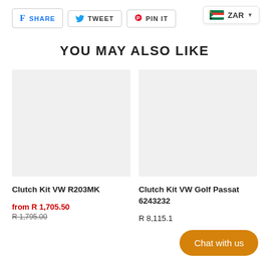[Figure (other): Social share buttons: Facebook SHARE, Twitter TWEET, Pinterest PIN IT]
[Figure (other): Currency selector badge showing South Africa flag and ZAR with dropdown arrow]
YOU MAY ALSO LIKE
[Figure (photo): Product image placeholder (light gray) for Clutch Kit VW R203MK]
Clutch Kit VW R203MK
from R 1,705.50
R 1,795.00
[Figure (photo): Product image placeholder (light gray) for Clutch Kit VW Golf Passat 62432323]
Clutch Kit VW Golf Passat 62432323
R 8,115.1
[Figure (other): Chat with us button (orange rounded pill)]